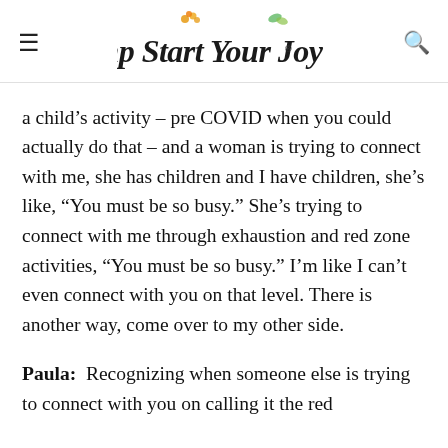Jump Start Your Joy
a child's activity – pre COVID when you could actually do that – and a woman is trying to connect with me, she has children and I have children, she's like, “You must be so busy.” She’s trying to connect with me through exhaustion and red zone activities, “You must be so busy.” I’m like I can’t even connect with you on that level. There is another way, come over to my other side.
Paula: Recognizing when someone else is trying to connect with you on calling it the red